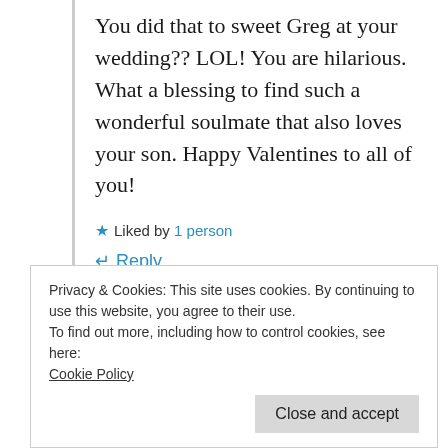You did that to sweet Greg at your wedding?? LOL! You are hilarious. What a blessing to find such a wonderful soulmate that also loves your son. Happy Valentines to all of you!
★ Liked by 1 person
↵ Reply
Privacy & Cookies: This site uses cookies. By continuing to use this website, you agree to their use.
To find out more, including how to control cookies, see here:
Cookie Policy
Close and accept